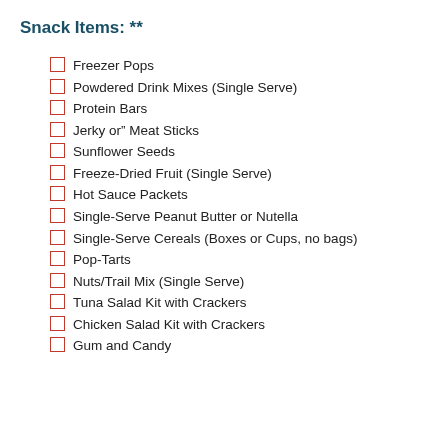Snack Items: **
Freezer Pops
Powdered Drink Mixes (Single Serve)
Protein Bars
Jerky or" Meat Sticks
Sunflower Seeds
Freeze-Dried Fruit (Single Serve)
Hot Sauce Packets
Single-Serve Peanut Butter or Nutella
Single-Serve Cereals (Boxes or Cups, no bags)
Pop-Tarts
Nuts/Trail Mix (Single Serve)
Tuna Salad Kit with Crackers
Chicken Salad Kit with Crackers
Gum and Candy